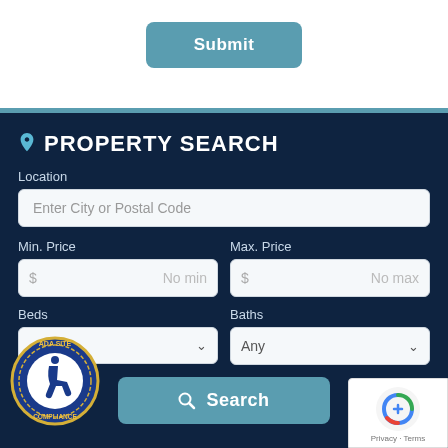[Figure (screenshot): Submit button - a rounded teal/blue button labeled 'Submit' centered near the top of the page]
[Figure (screenshot): Property Search panel with dark navy background. Contains fields: Location (text input 'Enter City or Postal Code'), Min. Price ($ No min), Max. Price ($ No max), Beds (dropdown), Baths (dropdown with 'Any'), and a Search button. ADA Site Compliance badge bottom-left, reCAPTCHA badge bottom-right.]